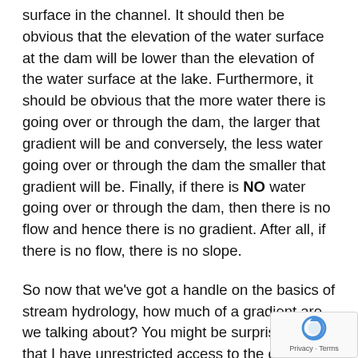surface in the channel. It should then be obvious that the elevation of the water surface at the dam will be lower than the elevation of the water surface at the lake. Furthermore, it should be obvious that the more water there is going over or through the dam, the larger that gradient will be and conversely, the less water going over or through the dam the smaller that gradient will be. Finally, if there is NO water going over or through the dam, then there is no flow and hence there is no gradient. After all, if there is no flow, there is no slope.
So now that we've got a handle on the basics of stream hydrology, how much of a gradient are we talking about? You might be surprised! Now that I have unrestricted access to the dam (without trespassing) I've been recording water levels both at the lake and at the dam so I can measure the actual difference in elevation. Currently, with BOTH the gate and the 7' flume wide open, the surface of the wa... the dam is on average 1.8' LOWER than at the lake:
[Figure (other): reCAPTCHA widget with rotating arrow icon and Privacy - Terms text]